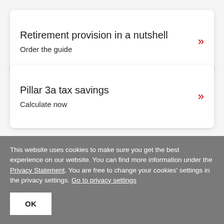Retirement provision in a nutshell — Order the guide
Pillar 3a tax savings — Calculate now
This website uses cookies to make sure you get the best experience on our website. You can find more information under the Privacy Statement. You are free to change your cookies' settings in the privacy settings. Go to privacy settings